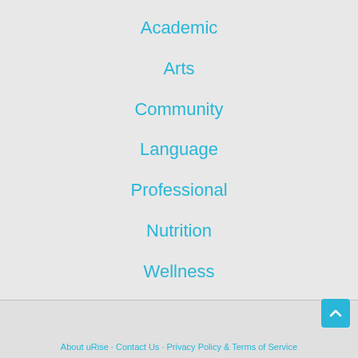Academic
Arts
Community
Language
Professional
Nutrition
Wellness
About uRise · Contact Us · Privacy Policy & Terms of Service